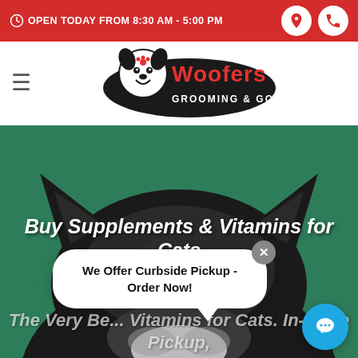OPEN TODAY FROM 8:30 AM - 5:00 PM
[Figure (logo): Woofers Grooming & Goodies logo with cartoon dog mascot]
[Figure (photo): Black cat with green background, top of head and ears visible]
Buy Supplements & Vitamins for Cats
The Very Be... Vitamins for Cats. In-Store Pickup,
[Figure (other): Chat bubble popup: We Offer Curbside Pickup - Order Now! with close X button]
[Figure (other): Blue circular chat button]